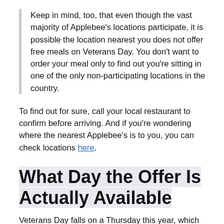Keep in mind, too, that even though the vast majority of Applebee's locations participate, it is possible the location nearest you does not offer free meals on Veterans Day. You don't want to order your meal only to find out you're sitting in one of the only non-participating locations in the country.
To find out for sure, call your local restaurant to confirm before arriving. And if you're wondering where the nearest Applebee's is to you, you can check locations here.
What Day the Offer Is Actually Available
Veterans Day falls on a Thursday this year, which is...